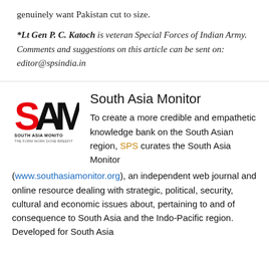genuinely want Pakistan cut to size.
*Lt Gen P. C. Katoch is veteran Special Forces of Indian Army. Comments and suggestions on this article can be sent on: editor@spsindia.in
South Asia Monitor
[Figure (logo): South Asia Monitor (SAM) logo — bold black letters S, A, M with red color on S, and text 'SOUTH ASIA MONITOR' below]
To create a more credible and empathetic knowledge bank on the South Asian region, SPS curates the South Asia Monitor (www.southasiamonitor.org), an independent web journal and online resource dealing with strategic, political, security, cultural and economic issues about, pertaining to and of consequence to South Asia and the Indo-Pacific region. Developed for South Asia